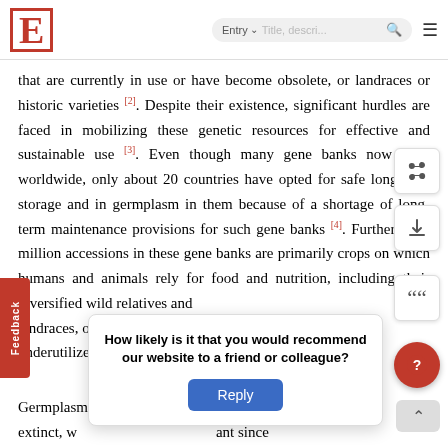E | Entry ▾ | Title, descri... 🔍 ≡
that are currently in use or have become obsolete, or landraces or historic varieties [2]. Despite their existence, significant hurdles are faced in mobilizing these genetic resources for effective and sustainable use [3]. Even though many gene banks now exist worldwide, only about 20 countries have opted for safe long-term storage and in germplasm in them because of a shortage of long-term maintenance provisions for such gene banks [4]. Furthermore, million accessions in these gene banks are primarily crops on which humans and animals rely for food and nutrition, including their diversified wild relatives and landraces, ones and underutilized crops.
Germplasm ... age about extinct, w ... ant since
[Figure (screenshot): Survey popup asking 'How likely is it that you would recommend our website to a friend or colleague?' with a Reply button]
[Figure (screenshot): Feedback sidebar tab on the left side]
[Figure (screenshot): Floating action buttons: share, download, quote, help (red circle), scroll-to-top]